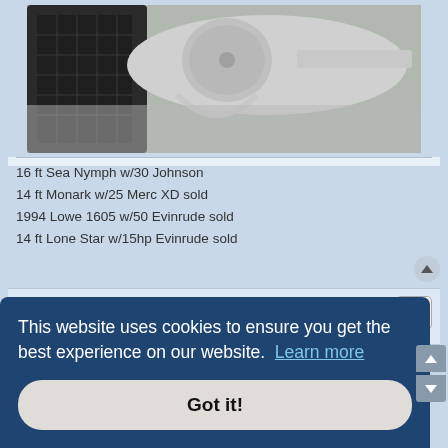[Figure (photo): Partial view of a silver/chrome revolver with dark checkered grip, laying on a gray fabric surface]
16 ft Sea Nymph w/30 Johnson
14 ft Monark w/25 Merc XD sold
1994 Lowe 1605 w/50 Evinrude sold
14 ft Lone Star w/15hp Evinrude sold
KMixson
Donor
revolver hobby
12 Dec 2017, 12:29
This website uses cookies to ensure you get the best experience on our website.  Learn more
Got it!
rrevolverhobby
12 Dec 2017, 13:27